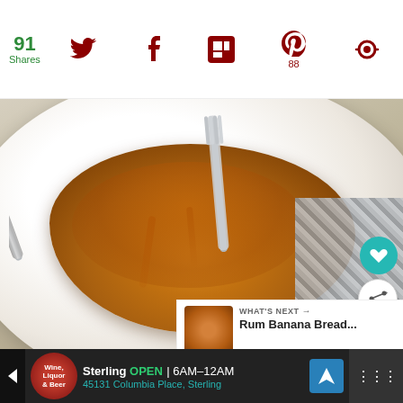91 Shares
[Figure (photo): Close-up of pumpkin bread pudding in a white bowl with caramel sauce drizzled over it, two forks resting in the dish, on a plaid napkin background. Social share icons (Twitter, Facebook, Flipboard, Pinterest with 88 count, and another icon) shown at top. Heart and share action buttons on the right side. 'What's Next' overlay showing Rum Banana Bread...]
Pumpkin Bread Pudding
Sterling OPEN | 6AM–12AM  45131 Columbia Place, Sterling